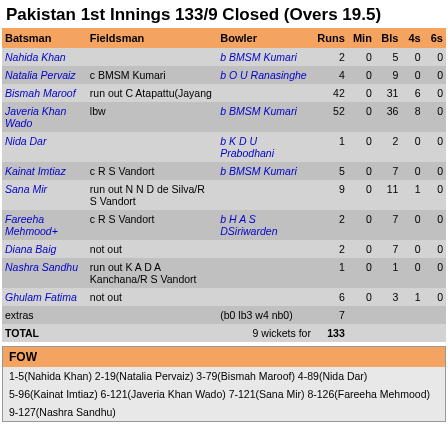Pakistan 1st Innings 133/9 Closed (Overs 19.5)
| Batsman | Fieldsman | Bowler | Runs | Min | Bls | 4s | 6s |
| --- | --- | --- | --- | --- | --- | --- | --- |
| Nahida Khan |  | b BMSM Kumari | 2 | 0 | 5 | 0 | 0 |
| Natalia Pervaiz | c BMSM Kumari | b O U Ranasinghe | 4 | 0 | 9 | 0 | 0 |
| Bismah Maroof | run out C Atapattu(Jayang |  | 42 | 0 | 31 | 6 | 0 |
| Javeria Khan Wado | lbw | b BMSM Kumari | 52 | 0 | 36 | 8 | 0 |
| Nida Dar |  | b K D U Prabodhani | 1 | 0 | 2 | 0 | 0 |
| Kainat Imtiaz | c R S Vandort | b BMSM Kumari | 5 | 0 | 7 | 0 | 0 |
| Sana Mir | run out N N D de Silva/R S Vandort |  | 9 | 0 | 11 | 1 | 0 |
| Fareeha Mehmood+ | c R S Vandort | b H A S DSiriwarden | 2 | 0 | 7 | 0 | 0 |
| Diana Baig | not out |  | 2 | 0 | 7 | 0 | 0 |
| Nashra Sandhu | run out K A D A Kanchana/R S Vandort |  | 1 | 0 | 1 | 0 | 0 |
| Ghulam Fatima | not out |  | 6 | 0 | 3 | 1 | 0 |
| extras |  | (b0 lb3 w4 nb0) | 7 |  |  |  |  |
| TOTAL |  | 9 wickets for | 133 |  |  |  |  |
FOW
1-5(Nahida Khan) 2-19(Natalia Pervaiz) 3-79(Bismah Maroof) 4-89(Nida Dar)
5-96(Kainat Imtiaz) 6-121(Javeria Khan Wado) 7-121(Sana Mir) 8-126(Fareeha Mehmood)
9-127(Nashra Sandhu)